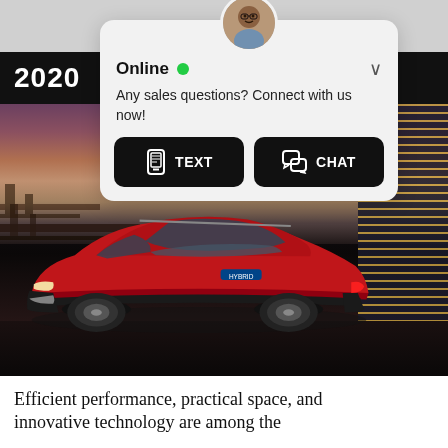[Figure (screenshot): Website screenshot showing a 2020 Toyota RAV4 Hybrid in red parked in a dramatic urban night setting, with a chat popup overlay showing an agent avatar, 'Online' status with green dot, message 'Any sales questions? Connect with us now!', and two buttons: TEXT and CHAT.]
Efficient performance, practical space, and innovative technology are among the...